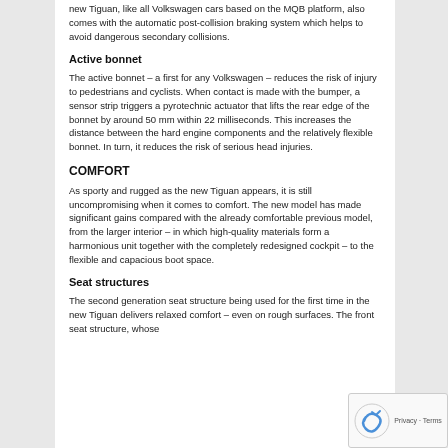new Tiguan, like all Volkswagen cars based on the MQB platform, also comes with the automatic post-collision braking system which helps to avoid dangerous secondary collisions.
Active bonnet
The active bonnet – a first for any Volkswagen – reduces the risk of injury to pedestrians and cyclists. When contact is made with the bumper, a sensor strip triggers a pyrotechnic actuator that lifts the rear edge of the bonnet by around 50 mm within 22 milliseconds. This increases the distance between the hard engine components and the relatively flexible bonnet. In turn, it reduces the risk of serious head injuries.
COMFORT
As sporty and rugged as the new Tiguan appears, it is still uncompromising when it comes to comfort. The new model has made significant gains compared with the already comfortable previous model, from the larger interior – in which high-quality materials form a harmonious unit together with the completely redesigned cockpit – to the flexible and capacious boot space.
Seat structures
The second generation seat structure being used for the first time in the new Tiguan delivers relaxed comfort – even on rough surfaces. The front seat structure, whose